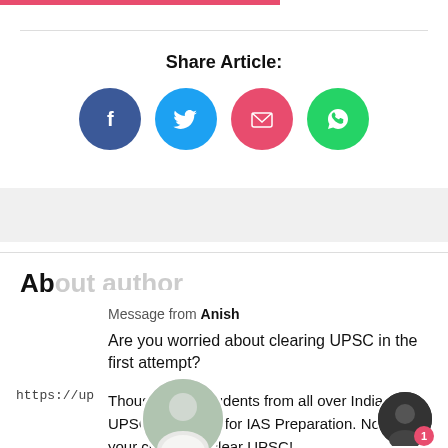Share Article:
[Figure (infographic): Four social sharing buttons: Facebook (blue circle with f), Twitter (light blue circle with bird), Email (pink/red circle with envelope), WhatsApp (green circle with phone)]
https://upscpathshala.com/content/best-android-app
Message from Anish
Are you worried about clearing UPSC in the first attempt?
Thousands of students from all over India trust UPSC Pathshala for IAS Preparation. Now, it's your chance to clear UPSC!
Ab...
[Figure (photo): Circular author profile photo of a woman in white clothing outdoors]
[Figure (photo): Circular chatbot/advisor photo of a man, with a red notification badge showing 1]